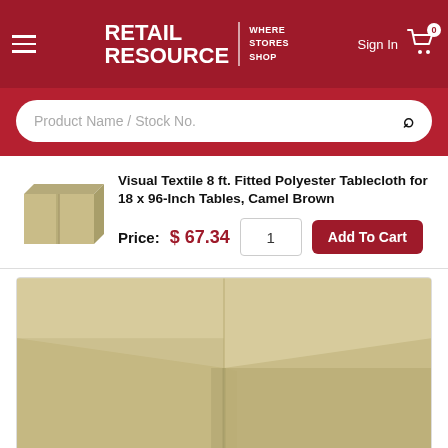[Figure (logo): Retail Resource logo — white text on dark red background, with tagline WHERE STORES SHOP]
Sign In
Product Name / Stock No.
Visual Textile 8 ft. Fitted Polyester Tablecloth for 18 x 96-Inch Tables, Camel Brown
Price:  $ 67.34
[Figure (photo): Camel brown fitted polyester tablecloth on an 8 ft table, large product photo showing the top and sides of the table covered with the cloth, with a center pleat visible on the front]
[Figure (photo): Small thumbnail of camel brown fitted tablecloth on a table]